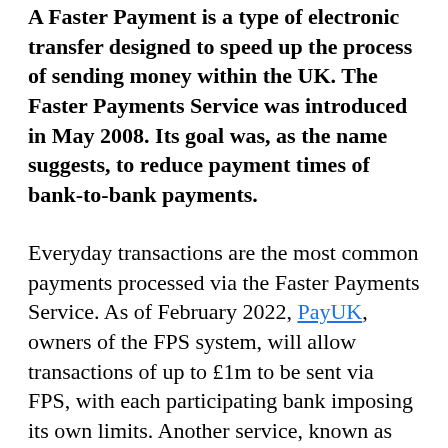A Faster Payment is a type of electronic transfer designed to speed up the process of sending money within the UK. The Faster Payments Service was introduced in May 2008. Its goal was, as the name suggests, to reduce payment times of bank-to-bank payments.
Everyday transactions are the most common payments processed via the Faster Payments Service. As of February 2022, PayUK, owners of the FPS system, will allow transactions of up to £1m to be sent via FPS, with each participating bank imposing its own limits. Another service, known as CHAPS, is available for larger sums. We'll discuss the key differences later in the article.
As of August 2022 there are over 40 institutions